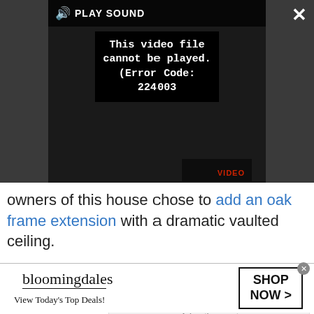[Figure (screenshot): Video player showing error message: 'This video file cannot be played. (Error Code: 224003)' with PLAY SOUND control bar and close/expand buttons on dark background]
owners of this house chose to add an oak frame extension with a dramatic vaulted ceiling.
[Figure (other): Advertisement placeholder box labeled 'Advertisement']
[Figure (other): Bloomingdale's advertisement banner: 'bloomingdales / View Today's Top Deals!' with SHOP NOW > button]